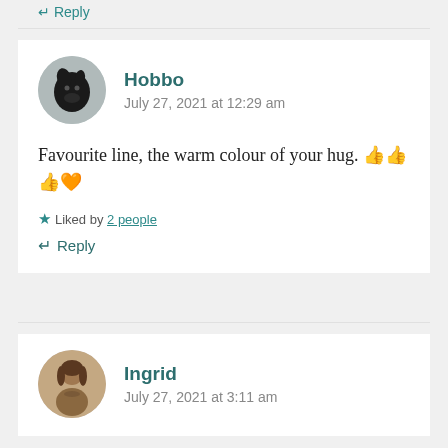↵ Reply
Hobbo
July 27, 2021 at 12:29 am
Favourite line, the warm colour of your hug. 👍👍👍🧡
★ Liked by 2 people
↵ Reply
Ingrid
July 27, 2021 at 3:11 am